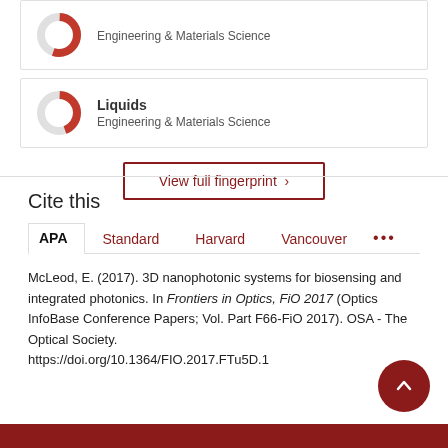[Figure (other): Donut chart with red fill for Engineering & Materials Science topic card (top, partially visible)]
[Figure (other): Donut chart with red fill for Liquids - Engineering & Materials Science topic card]
View full fingerprint >
Cite this
APA | Standard | Harvard | Vancouver | ...
McLeod, E. (2017). 3D nanophotonic systems for biosensing and integrated photonics. In Frontiers in Optics, FiO 2017 (Optics InfoBase Conference Papers; Vol. Part F66-FiO 2017). OSA - The Optical Society. https://doi.org/10.1364/FIO.2017.FTu5D.1